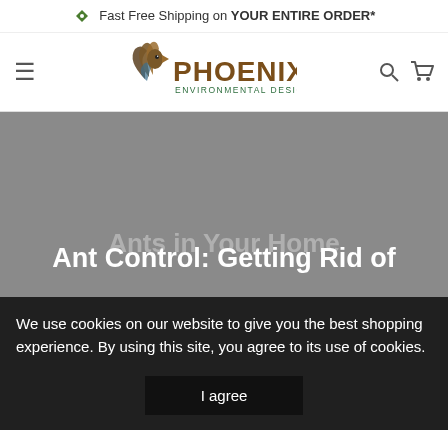Fast Free Shipping on YOUR ENTIRE ORDER*
[Figure (logo): Phoenix Environmental Design, Inc. logo with phoenix bird icon]
Ant Control: Getting Rid of Ants in Your Home
We use cookies on our website to give you the best shopping experience. By using this site, you agree to its use of cookies.
I agree